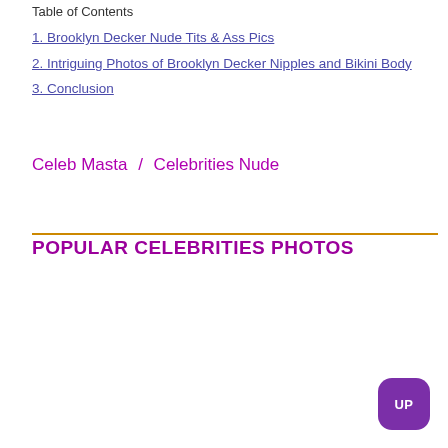Table of Contents
1. Brooklyn Decker Nude Tits & Ass Pics
2. Intriguing Photos of Brooklyn Decker Nipples and Bikini Body
3. Conclusion
Celeb Masta  /  Celebrities Nude
POPULAR CELEBRITIES PHOTOS